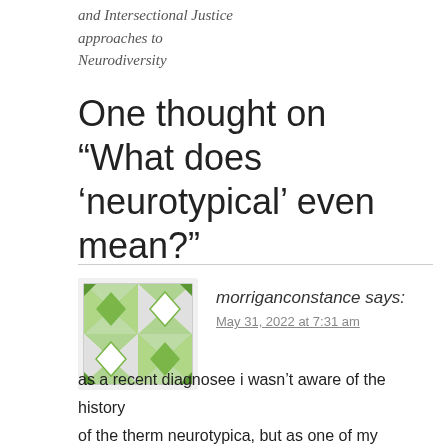and Intersectional Justice
approaches to
Neurodiversity
One thought on “What does ‘neurotypical’ even mean?”
[Figure (illustration): Green and white geometric quilt-pattern avatar icon]
morriganconstance says:
May 31, 2022 at 7:31 am
as a recent diagnosee i wasn’t aware of the history of the therm neurotypica, but as one of my “interests” is the use of the bell curve and this is how i have thought about neurotupicality, this was